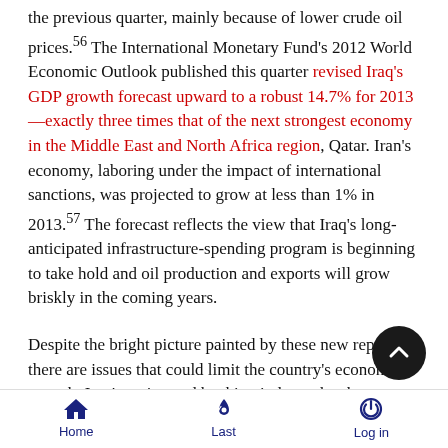the previous quarter, mainly because of lower crude oil prices.56 The International Monetary Fund's 2012 World Economic Outlook published this quarter revised Iraq's GDP growth forecast upward to a robust 14.7% for 2013—exactly three times that of the next strongest economy in the Middle East and North Africa region, Qatar. Iran's economy, laboring under the impact of international sanctions, was projected to grow at less than 1% in 2013.57 The forecast reflects the view that Iraq's long-anticipated infrastructure-spending program is beginning to take hold and oil production and exports will grow briskly in the coming years.
Despite the bright picture painted by these new reports, there are issues that could limit the country's economic growth. Iraq's antiquated banking industry has been unable to finance the kind of massive development spending required for Iraq to meet its goals. Further, international bankers voiced concern that the
Home  Last  Log in